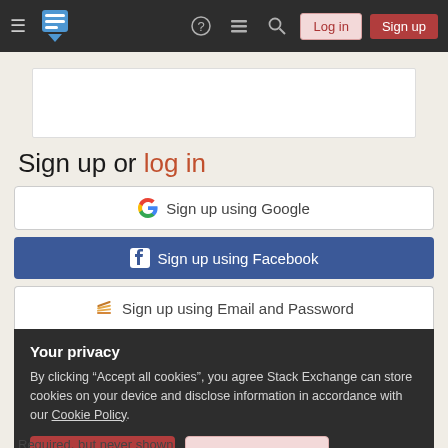Stack Exchange navigation bar with Log in and Sign up buttons
Sign up or log in
Sign up using Google
Sign up using Facebook
Sign up using Email and Password
Your privacy
By clicking “Accept all cookies”, you agree Stack Exchange can store cookies on your device and disclose information in accordance with our Cookie Policy.
Accept all cookies
Customize settings
Required, but never shown